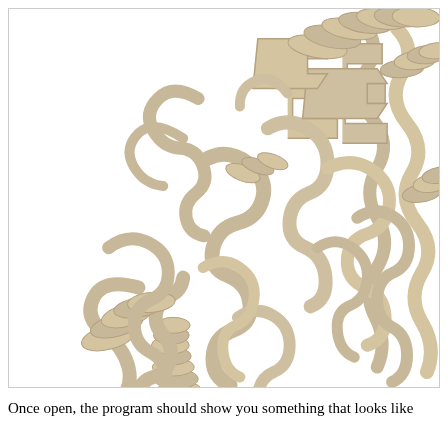[Figure (illustration): 3D ribbon/cartoon diagram of a protein structure (likely a large enzyme or ribosomal protein) shown in a tan/wheat color with alpha helices as ribbons and beta sheets as arrows. Small molecule ligands or cofactors are shown in stick representation with red, blue, and brown/orange atoms. The structure is complex with many intertwined helices and sheets. White background.]
Once open, the program should show you something that looks like